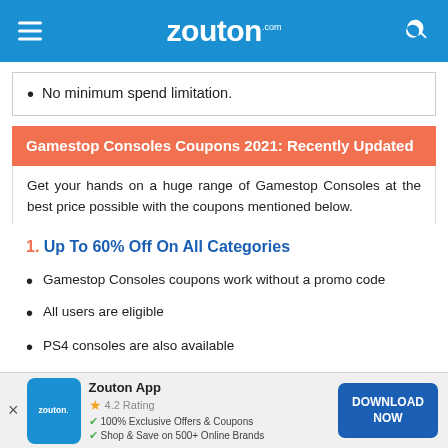zouton.com
No minimum spend limitation.
Gamestop Consoles Coupons 2021: Recently Updated
Get your hands on a huge range of Gamestop Consoles at the best price possible with the coupons mentioned below.
1. Up To 60% Off On All Categories
Gamestop Consoles coupons work without a promo code
All users are eligible
PS4 consoles are also available
Zouton App · 4.2 Rating · 100% Exclusive Offers & Coupons · Shop & Save on 500+ Online Brands · DOWNLOAD NOW